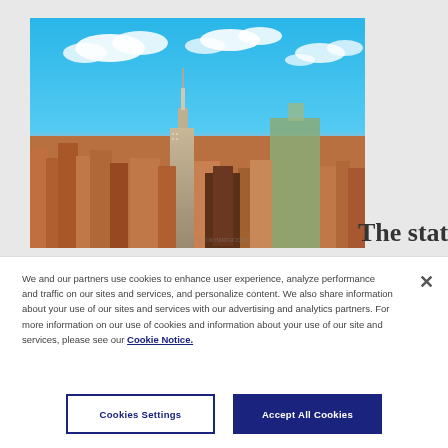[Figure (photo): Aerial panoramic photo of the New York City skyline featuring the Empire State Building and other skyscrapers under a blue sky with white clouds]
The state
We and our partners use cookies to enhance user experience, analyze performance and traffic on our sites and services, and personalize content. We also share information about your use of our sites and services with our advertising and analytics partners. For more information on our use of cookies and information about your use of our site and services, please see our Cookie Notice.
×
Cookies Settings
Accept All Cookies